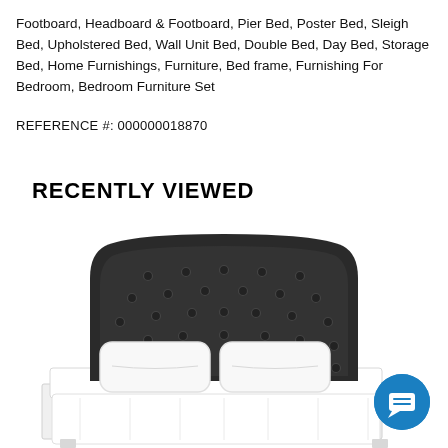Footboard, Headboard & Footboard, Pier Bed, Poster Bed, Sleigh Bed, Upholstered Bed, Wall Unit Bed, Double Bed, Day Bed, Storage Bed, Home Furnishings, Furniture, Bed frame, Furnishing For Bedroom, Bedroom Furniture Set
REFERENCE #: 000000018870
RECENTLY VIEWED
[Figure (photo): Product photo of an upholstered bed with a dark charcoal tufted headboard and white bedding/pillows, viewed from front angle]